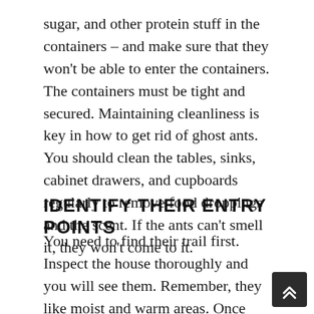sugar, and other protein stuff in the containers – and make sure that they won't be able to enter the containers. The containers must be tight and secured. Maintaining cleanliness is key in how to get rid of ghost ants. You should clean the tables, sinks, cabinet drawers, and cupboards regularly to remove food droppings and the scent. If the ants can't smell it, they won't come to it.
IDENTIFY THEIR ENTRY POINTS
You need to find their trail first. Inspect the house thoroughly and you will see them. Remember, they like moist and warm areas. Once you have found the trail, simply follow it. You will then find their entry points, which